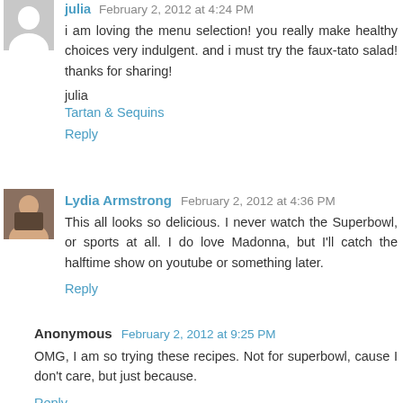julia  February 2, 2012 at 4:24 PM
i am loving the menu selection! you really make healthy choices very indulgent. and i must try the faux-tato salad! thanks for sharing!
julia
Tartan & Sequins
Reply
Lydia Armstrong  February 2, 2012 at 4:36 PM
This all looks so delicious. I never watch the Superbowl, or sports at all. I do love Madonna, but I'll catch the halftime show on youtube or something later.
Reply
Anonymous  February 2, 2012 at 9:25 PM
OMG, I am so trying these recipes. Not for superbowl, cause I don't care, but just because.
Reply